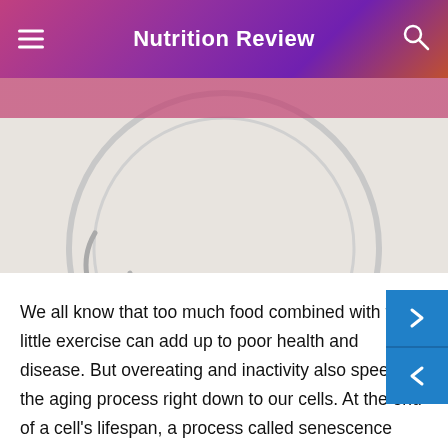Nutrition Review
[Figure (photo): Photo of a hamster wheel exercise apparatus on a white background, partially visible at top of page.]
We all know that too much food combined with too little exercise can add up to poor health and disease. But overeating and inactivity also speed up the aging process right down to our cells. At the end of a cell's lifespan, a process called senescence kicks in — cells lose the ability to divide and begin to secrete substances that damage the surrounding cells. While unhealthy lifestyle habits can accelerate this process, researchers at the Mayo Clinic wanted to know if increased exercise could counteract it. Thomas A. White presented their findings in a poster session on Monday, April 28, at the Experimental Biology meeting.